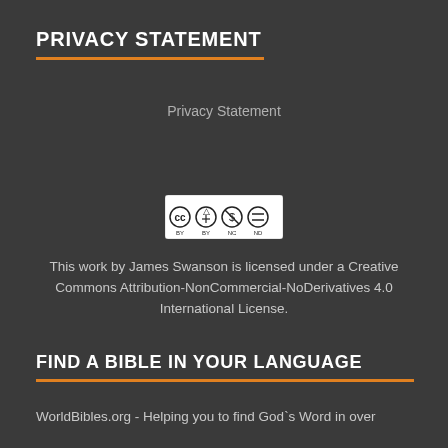PRIVACY STATEMENT
Privacy Statement
[Figure (logo): Creative Commons BY NC ND license badge with four circular icons: CC, BY (person), NC (dollar), ND (equals)]
This work by James Swanson is licensed under a Creative Commons Attribution-NonCommercial-NoDerivatives 4.0 International License.
FIND A BIBLE IN YOUR LANGUAGE
WorldBibles.org - Helping you to find God`s Word in over